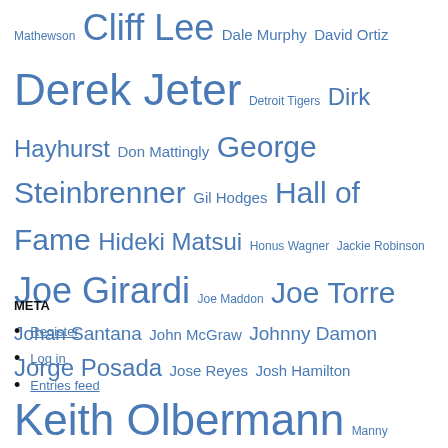Mathewson Cliff Lee Dale Murphy David Ortiz Derek Jeter Detroit Tigers Dirk Hayhurst Don Mattingly George Steinbrenner Gil Hodges Hall of Fame Hideki Matsui Honus Wagner Jackie Robinson Joe Girardi Joe Maddon Joe Torre Johan Santana John McGraw Johnny Damon Jorge Posada Jose Reyes Josh Hamilton Keith Olbermann Manny Ramirez Mariano Rivera Mark McGwire Mark Teixeira Miami Marlins Mickey Mantle MLB Network New York Mets New York Yankees Nick Swisher Phil Hughes Phillies Robinson Cano Roger Clemens Ron Washington Roy Halladay Ryan Howard Sandy Koufax San Francisco Giants Seattle Mariners St. Louis Cardinals Stephen Strasburg Tampa Bay Rays Terry Francona Texas Rangers Theo Epstein Tim McCarver Toronto Blue Jays Vin Scully Washington Nationals World Series Yankees Yankees-Red Sox Yankee Stadium Yogi Berra
META
Register
Log in
Entries feed